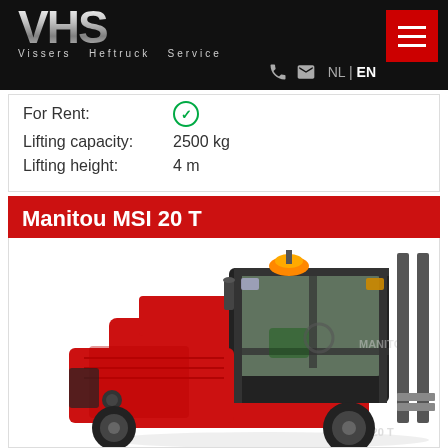[Figure (logo): VHS - Vissers Heftruck Service logo on black background with hamburger menu button]
For Rent: ✓
Lifting capacity: 2500 kg
Lifting height: 4 m
Manitou MSI 20 T
[Figure (photo): Photo of Manitou MSI 20 T forklift truck, red body with enclosed cab, orange beacon on top, seen from front-left angle]